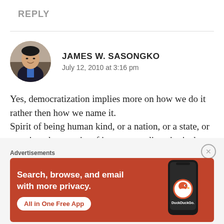REPLY
JAMES W. SASONGKO
July 12, 2010 at 3:16 pm
Yes, democratization implies more on how we do it rather then how we name it.
Spirit of being human kind, or a nation, or a state, or a society that consist of interwoven diversity is the ultimate paradox of social life. I'll go deeper
[Figure (infographic): DuckDuckGo advertisement banner with orange background. Text: 'Search, browse, and email with more privacy. All in One Free App'. Shows a phone with DuckDuckGo logo.]